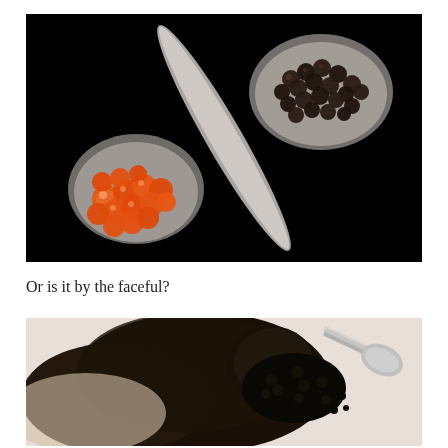[Figure (photo): Two spoons against a black background: left spoon holds bright orange/red salmon roe (fish eggs), right spoon holds dark black caviar (sturgeon roe). Both spoons appear to be made of mother-of-pearl or silver.]
Or is it by the faceful?
[Figure (photo): Close-up of a person with dark hair in a bun, with black caviar being poured or applied to the back of their neck/head area using a spoon, creating a face or body caviar treatment.]